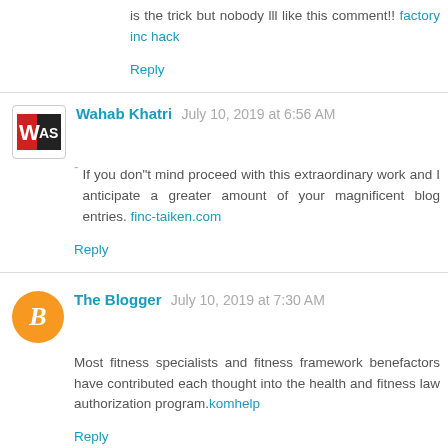is the trick but nobody lll like this comment!! factory inc hack
Reply
Wahab Khatri  July 10, 2019 at 6:56 AM
If you don"t mind proceed with this extraordinary work and I anticipate a greater amount of your magnificent blog entries. finc-taiken.com
Reply
The Blogger  July 10, 2019 at 7:30 AM
Most fitness specialists and fitness framework benefactors have contributed each thought into the health and fitness law authorization program.komhelp
Reply
James  August 12, 2019 at 1:19 PM